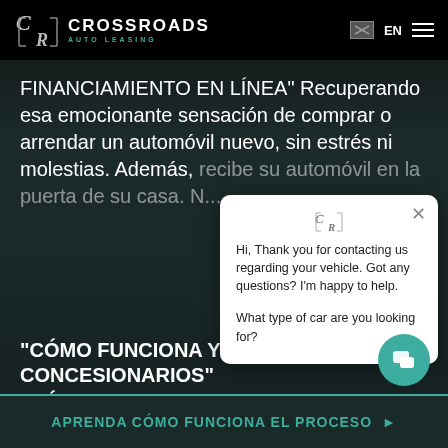CROSSROADS AUTO LEASING — EN
FINANCIAMIENTO EN LÍNEA" Recuperando esa emocionante sensación de comprar o arrendar un automóvil nuevo, sin estrés ni molestias. Además, recibe su automóvil en la puerta de su casa. N... contrato de arrend... automóvil o vender ... cubrimos! "TIENDA Ú... ayudarlo a obtener ... competitiva para a...
Hi, Thank you for contacting us regarding your vehicle. Got any questions? I'm happy to help.

What type of car are you looking for?
"CÓMO FUNCIONA Y EVITANDO LOS CONCESIONARIOS"
APRENDA CÓMO FUNCIONA EL PROCESO ▶